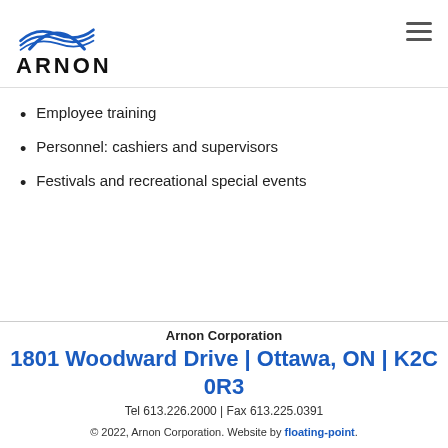ARNON
Employee training
Personnel: cashiers and supervisors
Festivals and recreational special events
Arnon Corporation
1801 Woodward Drive | Ottawa, ON | K2C 0R3
Tel 613.226.2000 | Fax 613.225.0391
© 2022, Arnon Corporation. Website by floating-point.